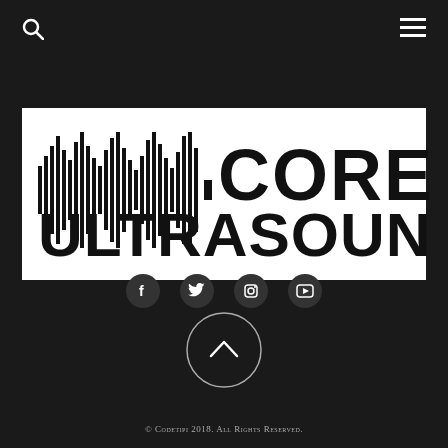[Figure (logo): Search icon (magnifying glass) in top-left navigation]
[Figure (logo): Hamburger menu icon in top-right navigation]
[Figure (logo): Core Ultrasound logo: soundwave graphic with bold text CORE ULTRASOUND on white background]
[Figure (logo): Social media icons: Facebook, Twitter, Instagram, YouTube]
[Figure (other): Scroll-to-top button: circle with upward chevron arrow]
© Codetipi 2018. All Rights Reserved.